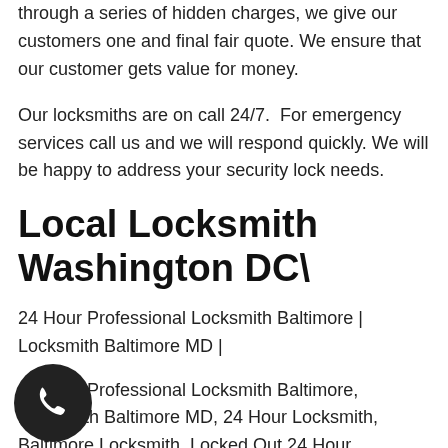through a series of hidden charges, we give our customers one and final fair quote. We ensure that our customer gets value for money.
Our locksmiths are on call 24/7.  For emergency services call us and we will respond quickly. We will be happy to address your security lock needs.
Local Locksmith Washington DC\
24 Hour Professional Locksmith Baltimore | Locksmith Baltimore MD |
24 Hour Professional Locksmith Baltimore, Locksmith Baltimore MD, 24 Hour Locksmith, Baltimore Locksmith, Locked Out,24 Hour Professional Locksmith Baltimore Car Key Replacement Baltimore, Lock 24 Hour Professional